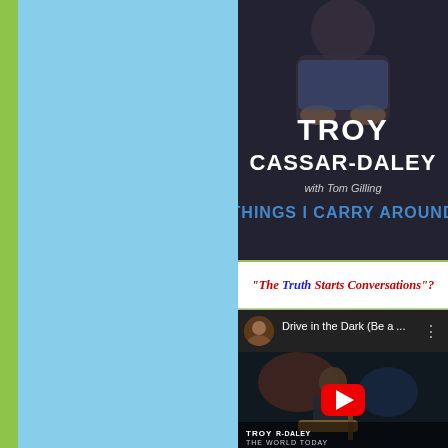[Figure (illustration): Book cover for 'Troy Cassar-Daley with Tom Gilling: Things I Carry Around'. Dark background showing a person seated, hands folded, with large white bold text TROY CASSAR-DALEY, subtext 'with Tom Gilling' and 'THINGS I CARRY AROUND' in blue.]
"The Truth Starts Conversations"?
[Figure (screenshot): YouTube video embed showing 'Drive in the Dark (Be a ...' by Troy Cassar-Daley. The video thumbnail shows a man with a guitar, with 'TROY CASSAR-DALEY THE WORLD TODAY' text overlay and a large red YouTube play button in the center.]